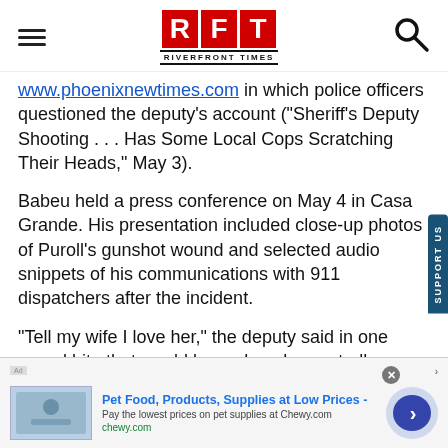[Figure (logo): RFT Riverfront Times logo with hamburger menu and search icon]
www.phoenixnewtimes.com in which police officers questioned the deputy's account ("Sheriff's Deputy Shooting . . . Has Some Local Cops Scratching Their Heads," May 3).
Babeu held a press conference on May 4 in Casa Grande. His presentation included close-up photos of Puroll's gunshot wound and selected audio snippets of his communications with 911 dispatchers after the incident.
"Tell my wife I love her," the deputy said in one sound bite that would be replayed repeatedly on national news shows.
[Figure (screenshot): Advertisement banner: Pet Food, Products, Supplies at Low Prices - chewy.com]